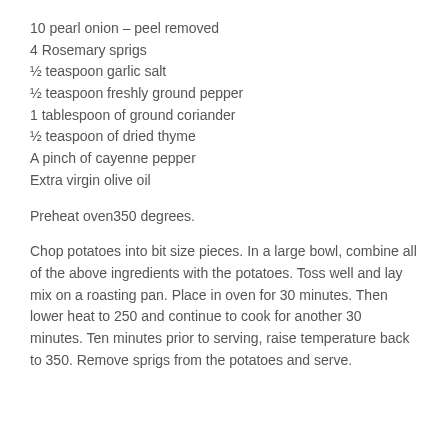10 pearl onion – peel removed
4 Rosemary sprigs
½ teaspoon garlic salt
½ teaspoon freshly ground pepper
1 tablespoon of ground coriander
½ teaspoon of dried thyme
A pinch of cayenne pepper
Extra virgin olive oil
Preheat oven350 degrees.
Chop potatoes into bit size pieces. In a large bowl, combine all of the above ingredients with the potatoes. Toss well and lay mix on a roasting pan. Place in oven for 30 minutes. Then lower heat to 250 and continue to cook for another 30 minutes. Ten minutes prior to serving, raise temperature back to 350. Remove sprigs from the potatoes and serve.